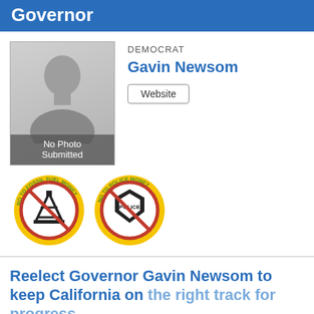Governor
DEMOCRAT
Gavin Newsom
Website
[Figure (illustration): No Photo Submitted placeholder silhouette]
[Figure (illustration): No To Fossil Fuel Money badge and No To Police Money badge]
Reelect Governor Gavin Newsom to keep California on the right track for progress.
Read More